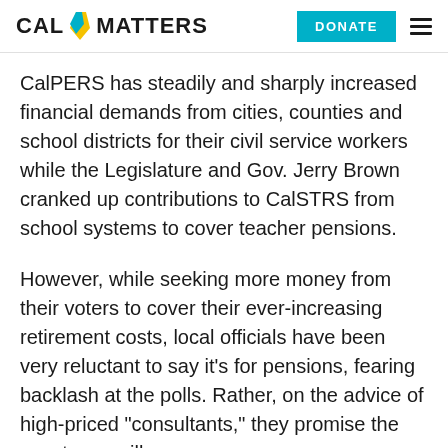CAL MATTERS | DONATE
CalPERS has steadily and sharply increased financial demands from cities, counties and school districts for their civil service workers while the Legislature and Gov. Jerry Brown cranked up contributions to CalSTRS from school systems to cover teacher pensions.
However, while seeking more money from their voters to cover their ever-increasing retirement costs, local officials have been very reluctant to say it’s for pensions, fearing backlash at the polls. Rather, on the advice of high-priced “consultants,” they promise the new taxes will